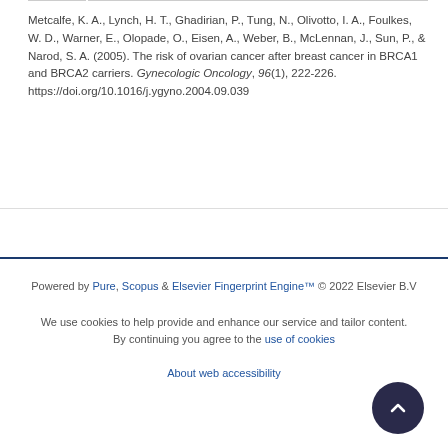Metcalfe, K. A., Lynch, H. T., Ghadirian, P., Tung, N., Olivotto, I. A., Foulkes, W. D., Warner, E., Olopade, O., Eisen, A., Weber, B., McLennan, J., Sun, P., & Narod, S. A. (2005). The risk of ovarian cancer after breast cancer in BRCA1 and BRCA2 carriers. Gynecologic Oncology, 96(1), 222-226. https://doi.org/10.1016/j.ygyno.2004.09.039
Powered by Pure, Scopus & Elsevier Fingerprint Engine™ © 2022 Elsevier B.V
We use cookies to help provide and enhance our service and tailor content. By continuing you agree to the use of cookies
About web accessibility